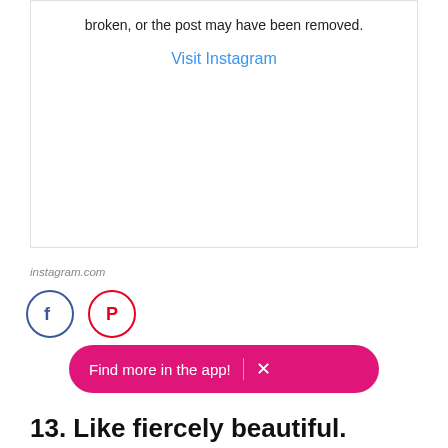broken, or the post may have been removed.
Visit Instagram
instagram.com
[Figure (other): Facebook and Pinterest social sharing icon buttons (circular outlined icons)]
[Figure (other): Pink pill-shaped button reading 'Find more in the app!' with a close X button]
13. Like fiercely beautiful.